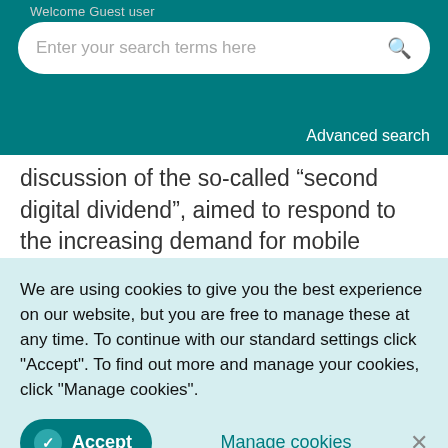Welcome Guest user
Enter your search terms here
Advanced search
discussion of the so-called “second digital dividend”, aimed to respond to the increasing demand for mobile broadband and the need to harmonize spectrum use across the world. This
We are using cookies to give you the best experience on our website, but you are free to manage these at any time. To continue with our standard settings click "Accept". To find out more and manage your cookies, click "Manage cookies".
several measures to guarantee that any further reallocation of the spectrum leads to an increase